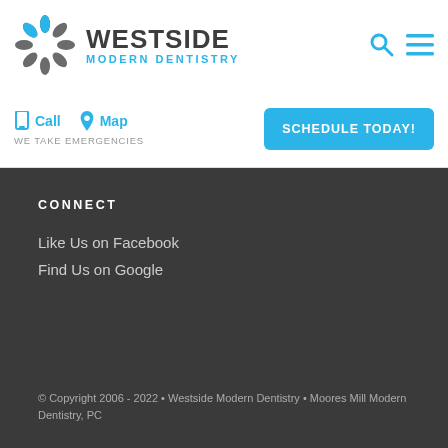[Figure (logo): Westside Modern Dentistry logo with starburst/tooth icon in grey and blue, and text 'WESTSIDE MODERN DENTISTRY']
[Figure (other): Search icon (magnifying glass) and hamburger menu icon in blue]
Call
Map
WE TAKE EMERGENCIES
SCHEDULE TODAY!
CONNECT
Like Us on Facebook
Find Us on Google
© Copyright 2006 - 2022 • Westside Modern Dentistry • Moores Mill Modern Dentistry, PC